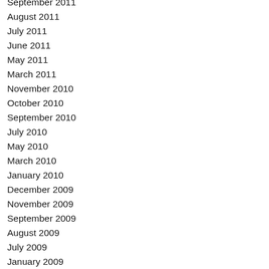September 2011
August 2011
July 2011
June 2011
May 2011
March 2011
November 2010
October 2010
September 2010
July 2010
May 2010
March 2010
January 2010
December 2009
November 2009
September 2009
August 2009
July 2009
January 2009
December 2008
November 2008
October 2008
September 2008